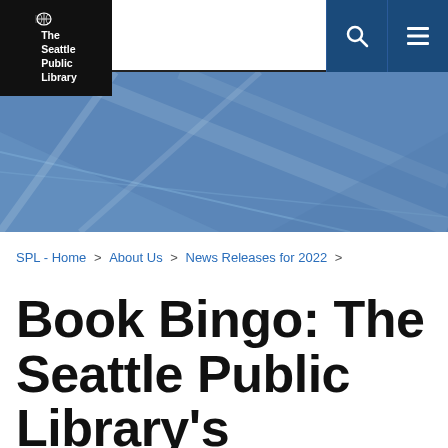The Seattle Public Library
[Figure (illustration): Blue geometric banner with diagonal light-colored lines forming a triangular pattern]
SPL - Home > About Us > News Releases for 2022 >
Book Bingo: The Seattle Public Library's Summer Reading Program